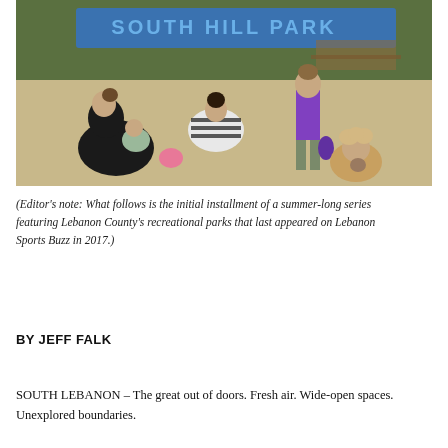[Figure (photo): Outdoor photo at South Hill Park. A woman in black clothing sits on sandy ground with a young child. Another woman in a black-and-white striped shirt crouches nearby. A young girl in a purple shirt stands on the sand. A toddler with curly hair sits on the ground in the foreground right. A blue bench with 'SOUTH HILL PARK' text is visible in the background.]
(Editor's note: What follows is the initial installment of a summer-long series featuring Lebanon County's recreational parks that last appeared on Lebanon Sports Buzz in 2017.)
BY JEFF FALK
SOUTH LEBANON – The great out of doors. Fresh air. Wide-open spaces. Unexplored boundaries.